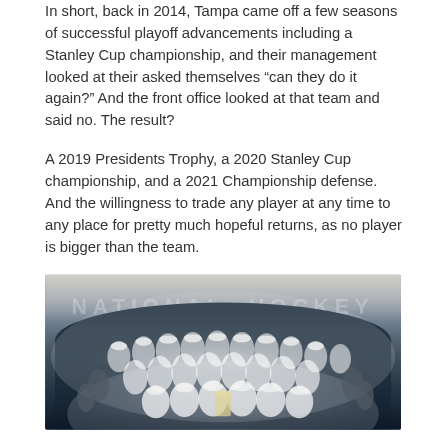In short, back in 2014, Tampa came off a few seasons of successful playoff advancements including a Stanley Cup championship, and their management looked at their asked themselves “can they do it again?” And the front office looked at that team and said no. The result?
A 2019 Presidents Trophy, a 2020 Stanley Cup championship, and a 2021 Championship defense. And the willingness to trade any player at any time to any place for pretty much hopeful returns, as no player is bigger than the team.
[Figure (photo): Team celebration photo of the Tampa Bay Lightning hockey team posing together on the ice after winning a championship. Players and staff are wearing white jerseys and championship hats. The word 'NATIONAL HOCKEY' is visible on the ice surface in the background.]